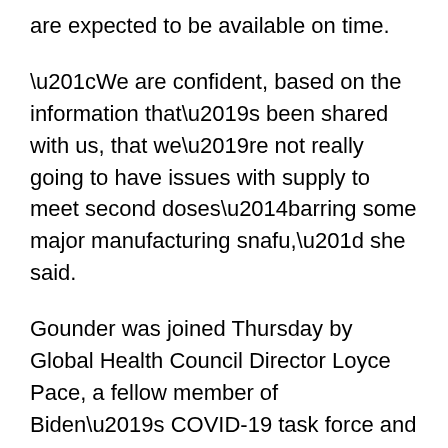are expected to be available on time.
“We are confident, based on the information that’s been shared with us, that we’re not really going to have issues with supply to meet second doses—barring some major manufacturing snafu,” she said.
Gounder was joined Thursday by Global Health Council Director Loyce Pace, a fellow member of Biden’s COVID-19 task force and a 2005 graduate of the Bloomberg School, where she received her Master of Public Health degree.
Moderator Brian Simpson—also a Bloomberg School alumnus and editor of